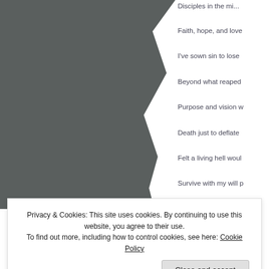[Figure (photo): A dark gray-toned photograph or image panel on the left side with a torn/jagged right edge effect.]
Disciples in the mi...
Faith, hope, and love
I've sown sin to lose
Beyond what reaped
Purpose and vision w
Death just to deflate
Felt a living hell woul
Survive with my will p
Privacy & Cookies: This site uses cookies. By continuing to use this website, you agree to their use. To find out more, including how to control cookies, see here: Cookie Policy
Close and accept